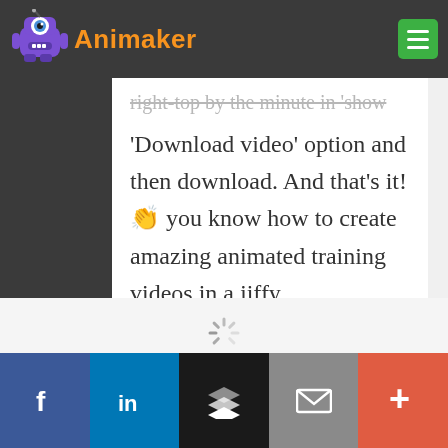[Figure (logo): Animaker logo with purple robot mascot and orange text 'Animaker']
'Download video' option and then download. And that's it! 👏 you know how to create amazing animated training videos in a jiffy.
[Figure (other): Loading spinner icon at bottom of page]
[Figure (other): Social share bar with Facebook, LinkedIn, Buffer, Email, and More buttons]